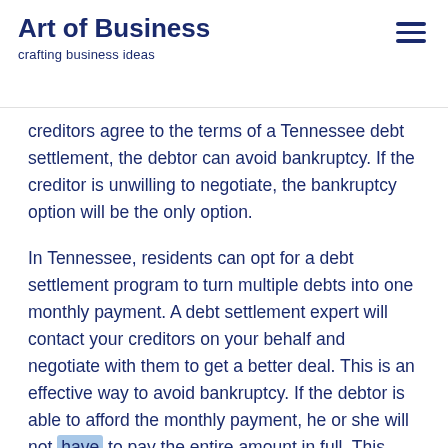Art of Business
crafting business ideas
creditors agree to the terms of a Tennessee debt settlement, the debtor can avoid bankruptcy. If the creditor is unwilling to negotiate, the bankruptcy option will be the only option.
In Tennessee, residents can opt for a debt settlement program to turn multiple debts into one monthly payment. A debt settlement expert will contact your creditors on your behalf and negotiate with them to get a better deal. This is an effective way to avoid bankruptcy. If the debtor is able to afford the monthly payment, he or she will not have to pay the entire amount in full. This means that a successful debt settlement will save them both time